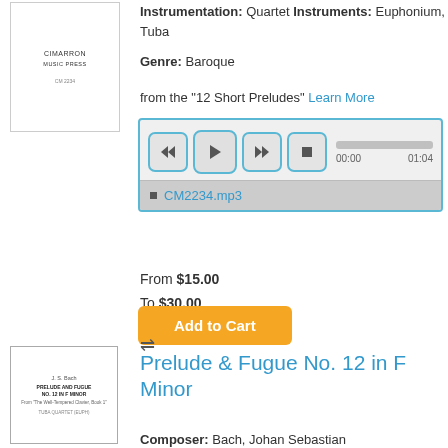[Figure (illustration): Sheet music cover thumbnail with Cimarron Music Press branding]
Instrumentation: Quartet Instruments: Euphonium, Tuba
Genre: Baroque
from the "12 Short Preludes" Learn More
[Figure (screenshot): Audio player with rewind, play, fast-forward, stop buttons, progress bar showing 00:00 to 01:04, and playlist showing CM2234.mp3]
From $15.00
To $30.00
Add to Cart
[Figure (illustration): Sheet music cover thumbnail for Prelude and Fugue No. 12 in F Minor by J.S. Bach, Tuba Quartet edition]
Prelude & Fugue No. 12 in F Minor
Composer: Bach, Johan Sebastian